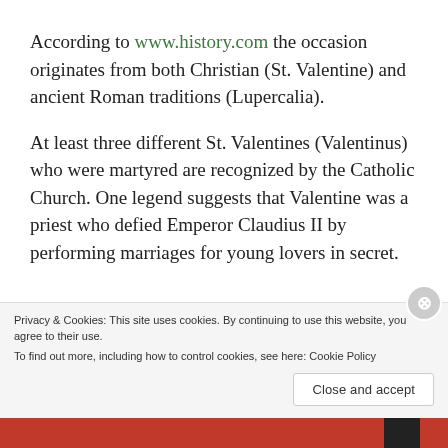According to www.history.com the occasion originates from both Christian (St. Valentine) and ancient Roman traditions (Lupercalia).
At least three different St. Valentines (Valentinus) who were martyred are recognized by the Catholic Church. One legend suggests that Valentine was a priest who defied Emperor Claudius II by performing marriages for young lovers in secret.
Privacy & Cookies: This site uses cookies. By continuing to use this website, you agree to their use.
To find out more, including how to control cookies, see here: Cookie Policy
Close and accept